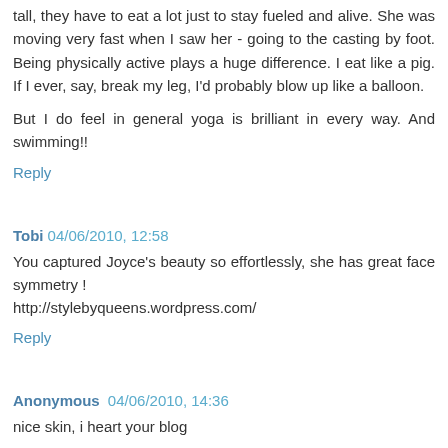tall, they have to eat a lot just to stay fueled and alive. She was moving very fast when I saw her - going to the casting by foot. Being physically active plays a huge difference. I eat like a pig. If I ever, say, break my leg, I'd probably blow up like a balloon.
But I do feel in general yoga is brilliant in every way. And swimming!!
Reply
Tobi 04/06/2010, 12:58
You captured Joyce's beauty so effortlessly, she has great face symmetry !
http://stylebyqueens.wordpress.com/
Reply
Anonymous 04/06/2010, 14:36
nice skin, i heart your blog